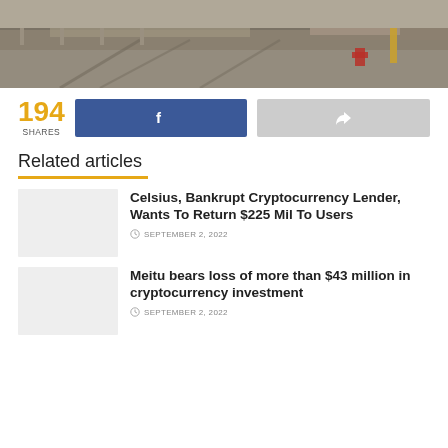[Figure (photo): Aerial or ground-level photo of a dirt/gravel construction or road site with barriers and equipment visible]
194 SHARES
Facebook share button
Share button
Related articles
Celsius, Bankrupt Cryptocurrency Lender, Wants To Return $225 Mil To Users
SEPTEMBER 2, 2022
Meitu bears loss of more than $43 million in cryptocurrency investment
SEPTEMBER 2, 2022